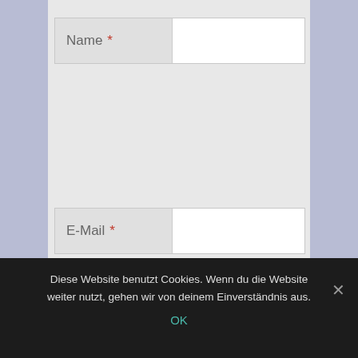[Figure (screenshot): Web comment form with three input fields (Name, E-Mail, Website) and a submit button 'Kommentar abschicken'. Below the form is a cookie consent banner with text in German and an OK link.]
Name *
E-Mail *
Website
Kommentar abschicken
Diese Website benutzt Cookies. Wenn du die Website weiter nutzt, gehen wir von deinem Einverständnis aus.
OK